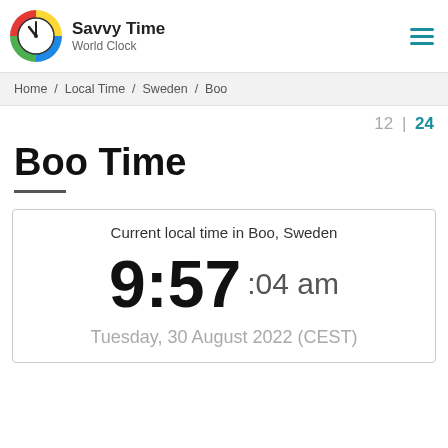[Figure (logo): Savvy Time World Clock logo — circular clock icon with colorful segments (green, red, yellow, blue) and a clock face with hands, next to text 'Savvy Time' and 'World Clock']
Savvy Time
World Clock
Home / Local Time / Sweden / Boo
12 | 24
Boo Time
Current local time in Boo, Sweden
9:57 :04 am
Tuesday, 30 August 2022 (CEST)